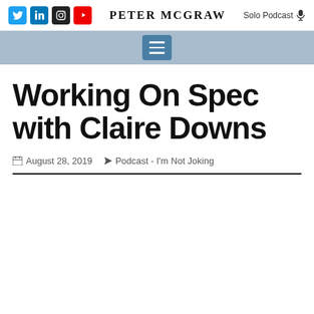Peter McGraw | Solo Podcast
[Figure (screenshot): Navigation bar with hamburger menu icon on light blue/steel background]
Working On Spec with Claire Downs
August 28, 2019   Podcast - I'm Not Joking